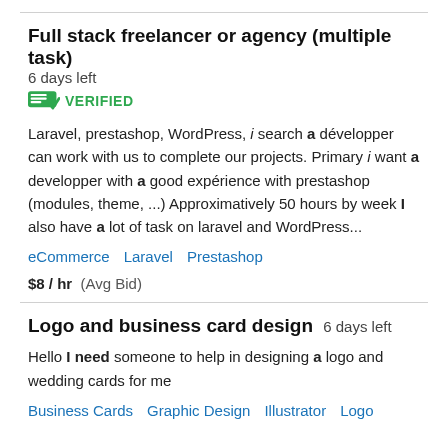Full stack freelancer or agency (multiple task)  6 days left
VERIFIED
Laravel, prestashop, WordPress, i search a développer can work with us to complete our projects. Primary i want a developper with a good expérience with prestashop (modules, theme, ...) Approximatively 50 hours by week I also have a lot of task on laravel and WordPress...
eCommerce
Laravel
Prestashop
$8 / hr  (Avg Bid)
Logo and business card design  6 days left
Hello I need someone to help in designing a logo and wedding cards for me
Business Cards
Graphic Design
Illustrator
Logo